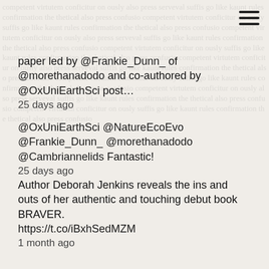[Figure (other): Hamburger menu icon (three horizontal lines) in top right corner]
paper led by @Frankie_Dunn_ of @morethanadodo and co-authored by @OxUniEarthSci post…
25 days ago
@OxUniEarthSci @NatureEcoEvo @Frankie_Dunn_ @morethanadodo @Cambriannelids Fantastic!
25 days ago
Author Deborah Jenkins reveals the ins and outs of her authentic and touching debut book BRAVER.
https://t.co/iBxhSedMZM
1 month ago
RT @sophielflynn: I've seen a lot of debuts (& non-debuts!) recently not enjoying being published as they hate marketing and feel like thei…
1 month ago
RT @Loverofhats: I had to be a bit #Braver than usual yesterday. @FairlightBooks Anyone also done a live interview@